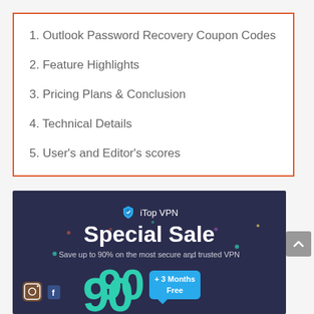1. Outlook Password Recovery Coupon Codes
2. Feature Highlights
3. Pricing Plans & Conclusion
4. Technical Details
5. User's and Editor's scores
[Figure (screenshot): iTop VPN Special Sale advertisement banner with dark navy background. Shows iTop VPN logo, 'Special Sale' heading, 'Save up to 90% on the most secure and trusted VPN' subtext, large teal '90' characters, and a cyan badge saying '+ 3 Months Free'.]